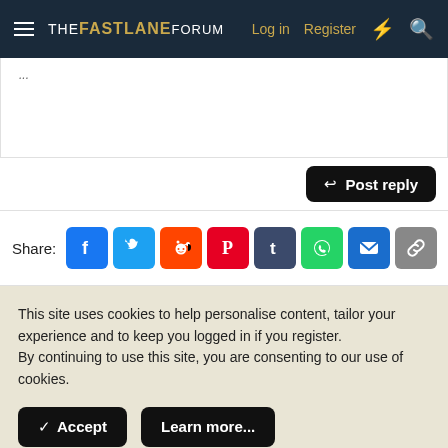THE FASTLANE FORUM  Log in  Register
Post reply
Share:
This site uses cookies to help personalise content, tailor your experience and to keep you logged in if you register.
By continuing to use this site, you are consenting to our use of cookies.
Accept  Learn more...